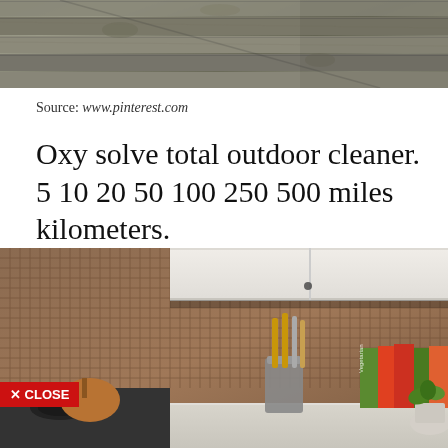[Figure (photo): Close-up of grey weathered wooden floor planks viewed from above]
Source:  www.pinterest.com
Oxy solve total outdoor cleaner. 5 10 20 50 100 250 500 miles kilometers.
[Figure (photo): Kitchen counter with mosaic tile backsplash, white cabinets, copper kettle on gas stove, utensil holder, and cookbooks. A red CLOSE button overlay is visible in the bottom left.]